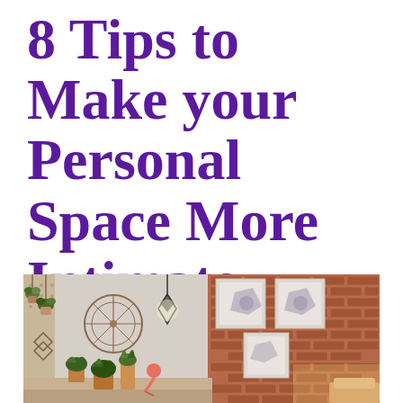8 Tips to Make your Personal Space More Intimate
[Figure (photo): Interior room photo showing a bohemian bedroom/living space with exposed brick wall on the right side, wall-mounted plants and geometric decorations on the left, framed artwork on the brick wall, potted plants on a surface, a geometric pendant light, and a circular wall decoration.]